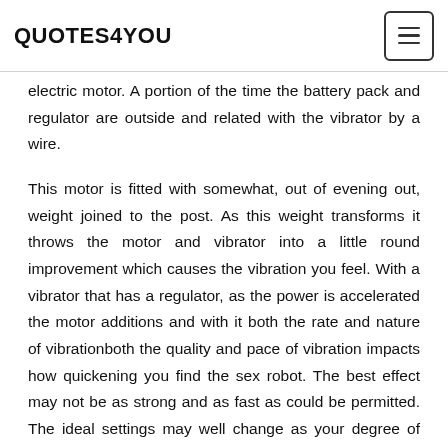QUOTES4YOU
electric motor. A portion of the time the battery pack and regulator are outside and related with the vibrator by a wire.
This motor is fitted with somewhat, out of evening out, weight joined to the post. As this weight transforms it throws the motor and vibrator into a little round improvement which causes the vibration you feel. With a vibrator that has a regulator, as the power is accelerated the motor additions and with it both the rate and nature of vibrationboth the quality and pace of vibration impacts how quickening you find the sex robot. The best effect may not be as strong and as fast as could be permitted. The ideal settings may well change as your degree of vitality